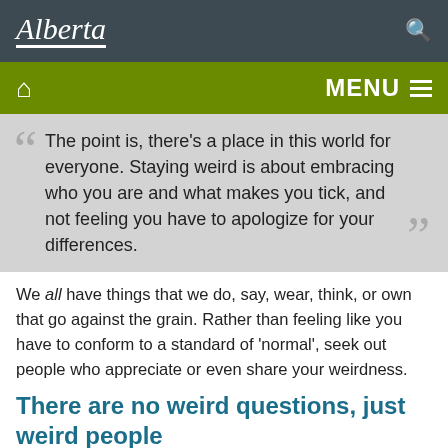[Figure (logo): Alberta government logo with wordmark 'Alberta' in white italic script on dark grey background, with search icon on right]
HOME  MENU
The point is, there's a place in this world for everyone. Staying weird is about embracing who you are and what makes you tick, and not feeling you have to apologize for your differences.
We all have things that we do, say, wear, think, or own that go against the grain. Rather than feeling like you have to conform to a standard of 'normal', seek out people who appreciate or even share your weirdness.
There are no weird questions, just weird people
This all crystalized for me one night when I was talking with